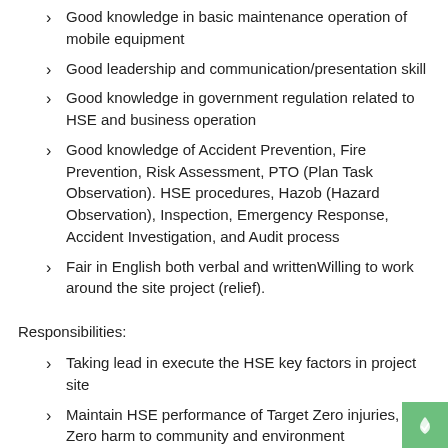Good knowledge in basic maintenance operation of mobile equipment
Good leadership and communication/presentation skill
Good knowledge in government regulation related to HSE and business operation
Good knowledge of Accident Prevention, Fire Prevention, Risk Assessment, PTO (Plan Task Observation). HSE procedures, Hazob (Hazard Observation), Inspection, Emergency Response, Accident Investigation, and Audit process
Fair in English both verbal and writtenWilling to work around the site project (relief).
Responsibilities:
Taking lead in execute the HSE key factors in project site
Maintain HSE performance of Target Zero injuries, and Zero harm to community and environment